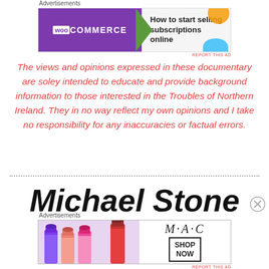[Figure (other): WooCommerce advertisement banner: purple background on left with WooCommerce logo and green arrow, white background on right with text 'How to start selling subscriptions online', orange circle and blue arc decorations]
The views and opinions expressed in these documentary are soley intended to educate and provide background information to those interested in the Troubles of Northern Ireland. They in no way reflect my own opinions and I take no responsibility for any inaccuracies or factual errors.
Michael Stone
[Figure (other): MAC cosmetics advertisement banner showing lipsticks on left and MAC logo with SHOP NOW button on right]